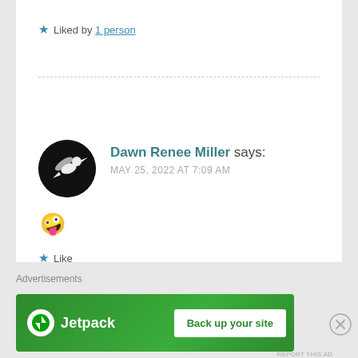★ Liked by 1 person
Dawn Renee Miller says: MAY 25, 2022 AT 7:09 AM
[Figure (photo): Avatar photo of Dawn Renee Miller: circular black background with white bird/hummingbird illustration]
🤪
★ Like
Advertisements
Advertisements
[Figure (infographic): Jetpack advertisement banner: green background with Jetpack logo and 'Back up your site' button]